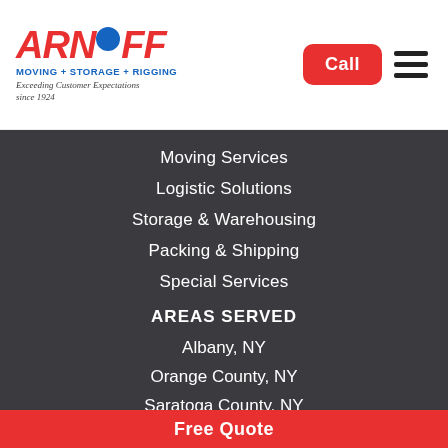[Figure (logo): Arnoff Moving + Storage + Rigging logo with red ARNOFF text, blue dot, and tagline 'Exceeding Customer Expectations since 1924']
Moving Services
Logistic Solutions
Storage & Warehousing
Packing & Shipping
Special Services
AREAS SERVED
Albany, NY
Orange County, NY
Saratoga County, NY
Western Connecticut
Free Quote